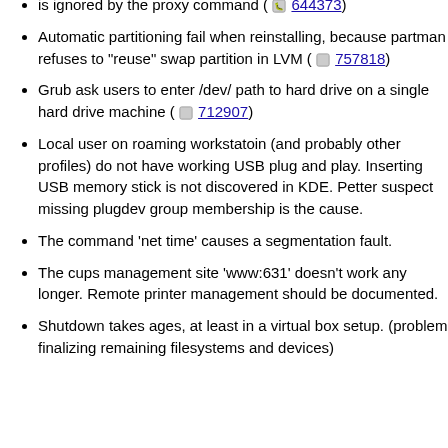is ignored by the proxy command ( 644373)
Automatic partitioning fail when reinstalling, because partman refuses to "reuse" swap partition in LVM ( 757818)
Grub ask users to enter /dev/ path to hard drive on a single hard drive machine ( 712907)
Local user on roaming workstatoin (and probably other profiles) do not have working USB plug and play. Inserting USB memory stick is not discovered in KDE. Petter suspect missing plugdev group membership is the cause.
The command 'net time' causes a segmentation fault.
The cups management site 'www:631' doesn't work any longer. Remote printer management should be documented.
Shutdown takes ages, at least in a virtual box setup. (problem finalizing remaining filesystems and devices)